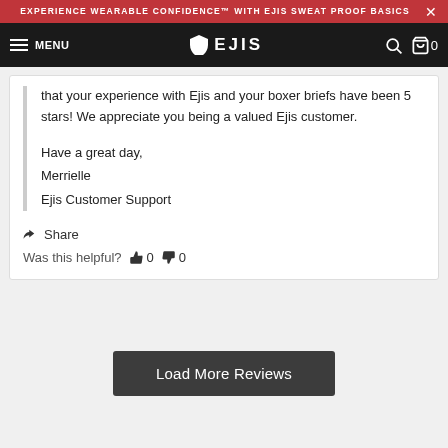EXPERIENCE WEARABLE CONFIDENCE™ WITH EJIS SWEAT PROOF BASICS
MENU  EJIS  0
that your experience with Ejis and your boxer briefs have been 5 stars! We appreciate you being a valued Ejis customer.

Have a great day,
Merrielle
Ejis Customer Support
Share
Was this helpful?  0  0
Load More Reviews